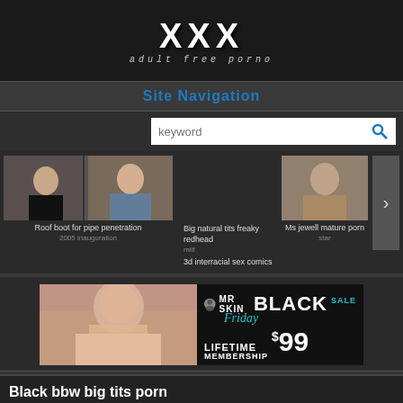XXX adult free porno
Site Navigation
[Figure (screenshot): Search bar with keyword input and magnifying glass icon]
[Figure (photo): Thumbnail image: two women]
Roof boot for pipe penetration
[Figure (photo): Thumbnail image: woman]
2005 inauguration
Big natural tits freaky redhead milf
3d interracial sex comics
[Figure (photo): Thumbnail image: woman on bed]
Ms jewell mature porn star
[Figure (other): MR SKIN Black Friday SALE LIFETIME MEMBERSHIP $99 advertisement banner]
Black bbw big tits porn